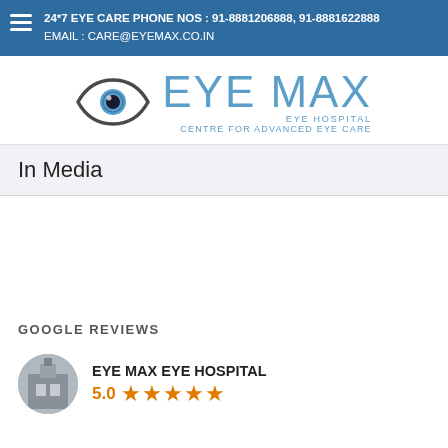24*7 EYE CARE PHONE NOS : 91-8881206888, 91-8881622888
EMAIL : CARE@EYEMAX.CO.IN
[Figure (logo): Eye Max Eye Hospital logo: stylized eye icon with blue tones, followed by text EYE MAX in large blue letters, and beneath: EYE HOSPITAL / CENTRE FOR ADVANCED EYE CARE]
In Media
GOOGLE REVIEWS
EYE MAX EYE HOSPITAL
5.0 ★★★★★